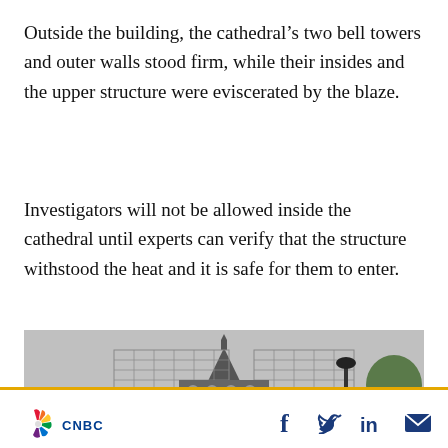Outside the building, the cathedral’s two bell towers and outer walls stood firm, while their insides and the upper structure were eviscerated by the blaze.
Investigators will not be allowed inside the cathedral until experts can verify that the structure withstood the heat and it is safe for them to enter.
[Figure (photo): Black and white photo of Notre-Dame cathedral covered in scaffolding after the fire, with trees visible on the right side and a grey overcast sky in the background.]
CNBC logo with social media share icons: Facebook, Twitter, LinkedIn, Email